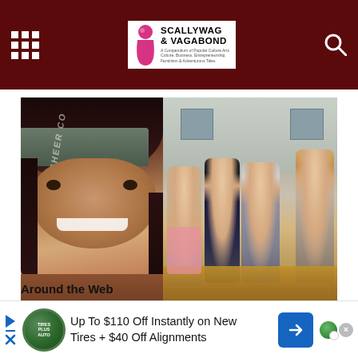Scallywag & Vagabond
[Figure (photo): Left: woman wearing a gray 'Cheer Coach' cap, smiling. Right: four children sitting together outdoors in fall leaves.]
McHenry I-90 wrong way crash: Mom, 31 & her 4 kids among 7 killed
Around the Web
[Figure (infographic): Advertisement banner: Up To $110 Off Instantly on New Tires + $40 Off Alignments with Tires Plus Auto logo and directional arrow button.]